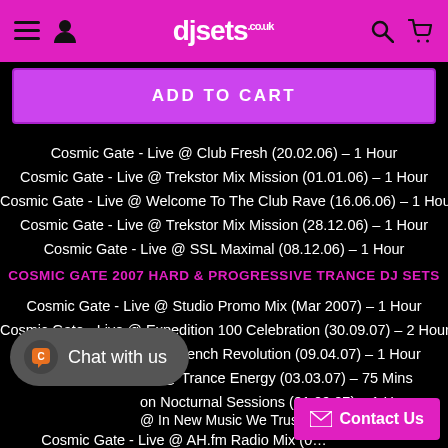djsets.co.uk
ADD TO CART
Cosmic Gate - Live @ Club Fresh (20.02.06) – 1 Hour
Cosmic Gate - Live @ Trekstor Mix Mission (01.01.06) – 1 Hour
Cosmic Gate - Live @ Welcome To The Club Rave (16.06.06) – 1 Hour
Cosmic Gate - Live @ Trekstor Mix Mission (28.12.06) – 1 Hour
Cosmic Gate - Live @ SSL Maximal (08.12.06) – 1 Hour
COSMIC GATE 2007 HARD & PROGRESSIVE TRANCE DJ SETS
Cosmic Gate - Live @ Studio Promo Mix (Mar 2007) – 1 Hour
Cosmic Gate - Live @ Expedition 100 Celebration (30.09.07) – 2 Hours
Cosmic Gate - Live @ French Revolution (09.04.07) – 1 Hour
Cosmic Gate - Live @ Trance Energy (03.03.07) – 75 Mins
Cosmic Gate - on Nocturnal Sessions (01.09.07) – 1 Hour
Cosmic Gate - @ In New Music We Trust (16.03.07) – 2 Hours
Cosmic Gate - Live @ AH.fm Radio Mix (…)